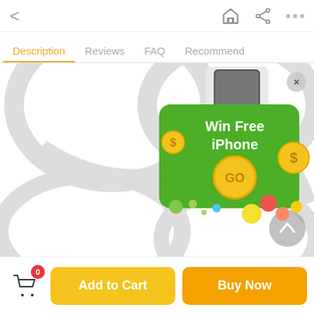[Figure (screenshot): Mobile app screenshot showing a product page with navigation bar (back arrow, home icon, share icon, more dots), tab navigation (Description selected in orange, Reviews, FAQ, Recommend), a large watermark/logo area in gray, a popup ad overlay for 'Win Free iPhone' with GO button and dollar coin graphics, a scroll-to-top button, and a bottom action bar with cart icon (badge 0), Add to Cart button (yellow), and Buy Now button (orange).]
Description
Reviews
FAQ
Recommend
Win Free iPhone
GO
0
Add to Cart
Buy Now